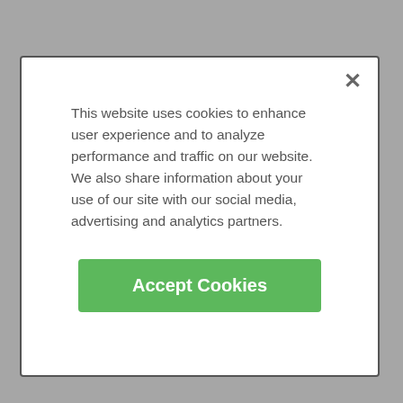[Figure (screenshot): Cookie consent modal dialog overlaying a website footer. Modal has close X button, cookie notice text, and green Accept Cookies button.]
This website uses cookies to enhance user experience and to analyze performance and traffic on our website. We also share information about your use of our site with our social media, advertising and analytics partners.
Accept Cookies
Help
Sitemap
Diabetes type 2
View all
[Figure (logo): Sharecare logo with green heart icon and sharecare wordmark]
©2022 Sharecare, Inc.
ADVERTISEMENT
ADCHOICES | COOKIES | DO NOT SELL MY DATA | PRIVACY | TERMS
[Figure (photo): Healthgrades advertisement banner: 5-star doctors really do exist. Find Yours Today button.]